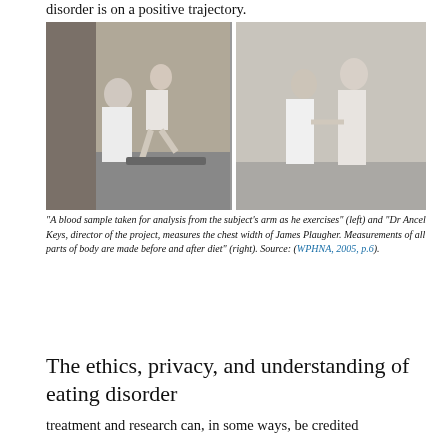disorder is on a positive trajectory.
[Figure (photo): Two black-and-white historical photographs side by side. Left: A doctor in a white coat takes a blood sample from a shirtless man's arm as he exercises on a treadmill or step apparatus. Right: A doctor in a white coat measures the chest width of a shirtless young man standing upright.]
"A blood sample taken for analysis from the subject's arm as he exercises" (left) and "Dr Ancel Keys, director of the project, measures the chest width of James Plaugher. Measurements of all parts of body are made before and after diet" (right). Source: (WPHNA, 2005, p.6).
The ethics, privacy, and understanding of eating disorder
treatment and research can, in some ways, be credited